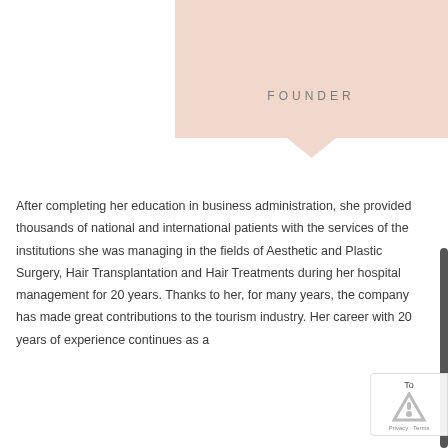[Figure (other): Peach/salmon colored banner with the word FOUNDER in spaced caps lettering and a downward chevron notch at the bottom center]
After completing her education in business administration, she provided thousands of national and international patients with the services of the institutions she was managing in the fields of Aesthetic and Plastic Surgery, Hair Transplantation and Hair Treatments during her hospital management for 20 years. Thanks to her, for many years, the company has made great contributions to the tourism industry. Her career with 20 years of experience continues as a